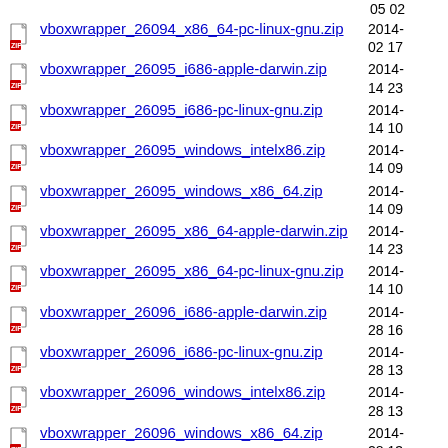vboxwrapper_26094_x86_64-pc-linux-gnu.zip  2014-02 17
vboxwrapper_26095_i686-apple-darwin.zip  2014-14 23
vboxwrapper_26095_i686-pc-linux-gnu.zip  2014-14 10
vboxwrapper_26095_windows_intelx86.zip  2014-14 09
vboxwrapper_26095_windows_x86_64.zip  2014-14 09
vboxwrapper_26095_x86_64-apple-darwin.zip  2014-14 23
vboxwrapper_26095_x86_64-pc-linux-gnu.zip  2014-14 10
vboxwrapper_26096_i686-apple-darwin.zip  2014-28 16
vboxwrapper_26096_i686-pc-linux-gnu.zip  2014-28 13
vboxwrapper_26096_windows_intelx86.zip  2014-28 13
vboxwrapper_26096_windows_x86_64.zip  2014-28 13